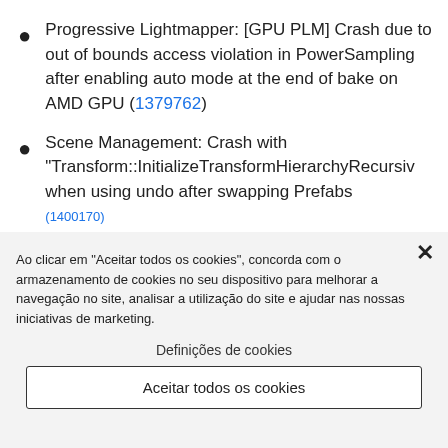Progressive Lightmapper: [GPU PLM] Crash due to out of bounds access violation in PowerSampling after enabling auto mode at the end of bake on AMD GPU (1379762)
Scene Management: Crash with "Transform::InitializeTransformHierarchyRecursively" when using undo after swapping Prefabs (1400170)
Ao clicar em "Aceitar todos os cookies", concorda com o armazenamento de cookies no seu dispositivo para melhorar a navegação no site, analisar a utilização do site e ajudar nas nossas iniciativas de marketing.
Definições de cookies
Aceitar todos os cookies